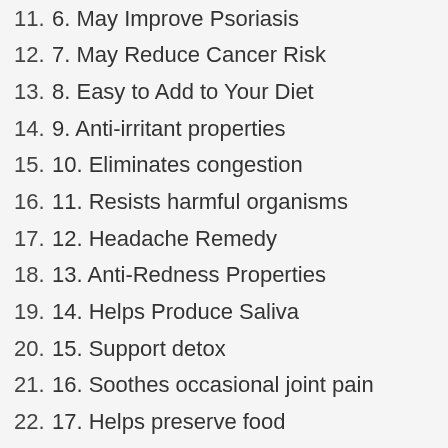11. 6. May Improve Psoriasis
12. 7. May Reduce Cancer Risk
13. 8. Easy to Add to Your Diet
14. 9. Anti-irritant properties
15. 10. Eliminates congestion
16. 11. Resists harmful organisms
17. 12. Headache Remedy
18. 13. Anti-Redness Properties
19. 14. Helps Produce Saliva
20. 15. Support detox
21. 16. Soothes occasional joint pain
22. 17. Helps preserve food
23. 18. Promotes longevity
24. 19. Promotes a healthy body weight
25. 20. Promotes a healthy heart